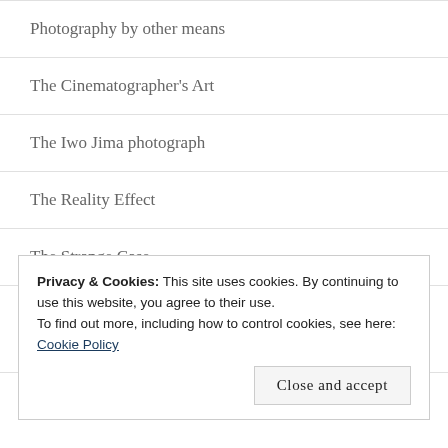Photography by other means
The Cinematographer's Art
The Iwo Jima photograph
The Reality Effect
The Strange Case
Uncategorized
Privacy & Cookies: This site uses cookies. By continuing to use this website, you agree to their use.
To find out more, including how to control cookies, see here: Cookie Policy
Close and accept